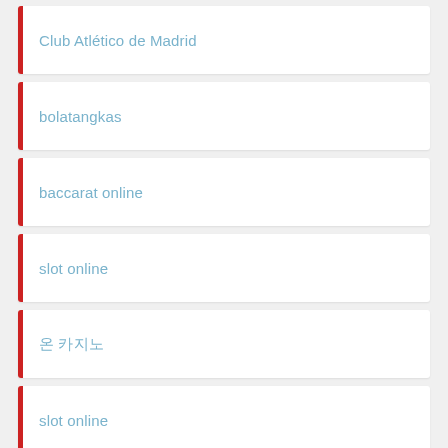Club Atlético de Madrid
bolatangkas
baccarat online
slot online
온 카지노
slot online